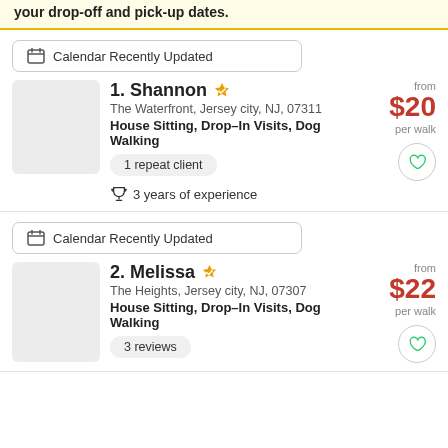your drop-off and pick-up dates.
Calendar Recently Updated
1. Shannon
The Waterfront, Jersey city, NJ, 07311
House Sitting, Drop–In Visits, Dog Walking
from $20 per walk
1 repeat client
3 years of experience
Calendar Recently Updated
2. Melissa
The Heights, Jersey city, NJ, 07307
House Sitting, Drop–In Visits, Dog Walking
from $22 per walk
3 reviews